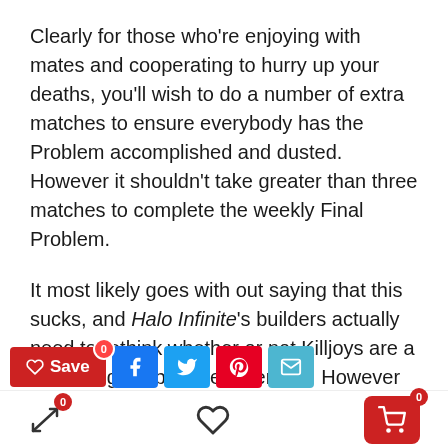Clearly for those who're enjoying with mates and cooperating to hurry up your deaths, you'll wish to do a number of extra matches to ensure everybody has the Problem accomplished and dusted. However it shouldn't take greater than three matches to complete the weekly Final Problem.
It most likely goes with out saying that this sucks, and Halo Infinite's builders actually need to rethink whether or not Killjoys are a rewarding Problem requirement. However till they do, you'll simply must die rather a lot.
[Figure (other): Social sharing toolbar with Save (heart icon, red), Facebook, Twitter, Pinterest, and Email buttons]
[Figure (other): Mobile nav bar with shuffle/compare icon (badge 0), heart/wishlist icon, and red cart button (badge 0)]